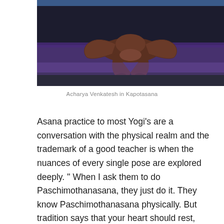[Figure (photo): Person performing Kapotasana yoga pose on a purple mat, lying face down with arms and legs bent, photographed from above in a studio setting]
Acharya Venkatesh in Kapotasana
Asana practice to most Yogi's are a conversation with the physical realm and the trademark of a good teacher is when the nuances of every single pose are explored deeply. '' When I ask them to do Paschimothanasana, they just do it. They know Paschimothanasana physically. But tradition says that your heart should rest, your brain should get sufficient blood circulation and your muscles should relax and your nerves are enjoying the energy in this asana. So when you teach Paschimothansa, you should experience that.'' says Venkatesha